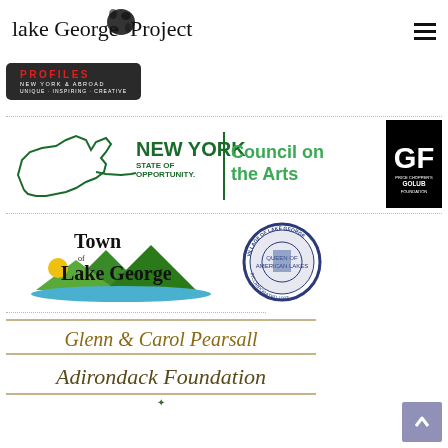Lake George Arts Project
[Figure (logo): PROFILES New York & Abroad - Unique Inspiring Creative logo]
[Figure (logo): New York State of Opportunity Council on the Arts logo with NY state outline]
[Figure (logo): Price Chopper's Golub Foundation logo - black background with GF letters]
[Figure (logo): Town of Lake George logo with mountain and lake illustration]
[Figure (logo): Village of Lake George circular seal]
[Figure (logo): Glenn & Carol Pearsall Adirondack Foundation logo]